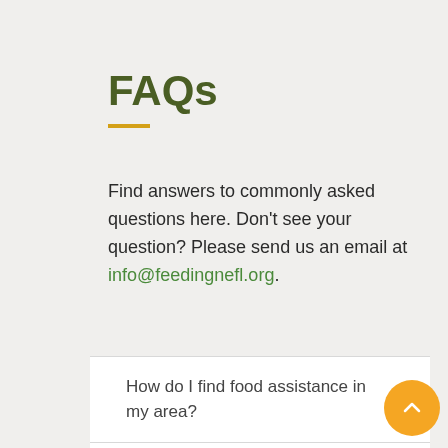FAQs
Find answers to commonly asked questions here. Don't see your question? Please send us an email at info@feedingnefl.org.
How do I find food assistance in my area?
What is the difference between find food now & locate a pantry?